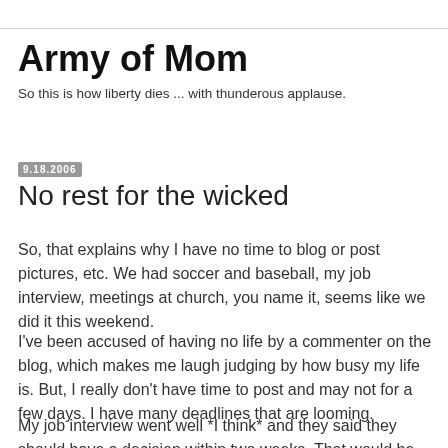Army of Mom
So this is how liberty dies ... with thunderous applause.
9.18.2006
No rest for the wicked
So, that explains why I have no time to blog or post pictures, etc. We had soccer and baseball, my job interview, meetings at church, you name it, seems like we did it this weekend.
I've been accused of having no life by a commenter on the blog, which makes me laugh judging by how busy my life is. But, I really don't have time to post and may not for a few days. I have many deadlines that are looming.
My job interview went well *I think* and they said they should have a decision within two weeks. That would be nice. I've been talking to this publisher for about six months, so